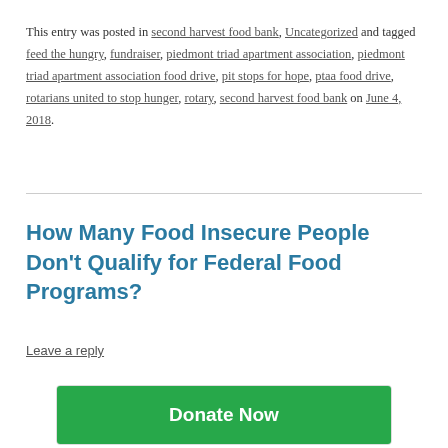This entry was posted in second harvest food bank, Uncategorized and tagged feed the hungry, fundraiser, piedmont triad apartment association, piedmont triad apartment association food drive, pit stops for hope, ptaa food drive, rotarians united to stop hunger, rotary, second harvest food bank on June 4, 2018.
How Many Food Insecure People Don’t Qualify for Federal Food Programs?
Leave a reply
[Figure (other): Green Donate Now button]